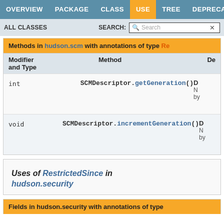OVERVIEW  PACKAGE  CLASS  USE  TREE  DEPRECATED
ALL CLASSES   SEARCH:
Methods in hudson.scm with annotations of type Re
| Modifier and Type | Method | De |
| --- | --- | --- |
| int | SCMDescriptor.getGeneration() | D
N
by |
| void | SCMDescriptor.incrementGeneration() | D
N
by |
Uses of RestrictedSince in hudson.security
Fields in hudson.security with annotations of type